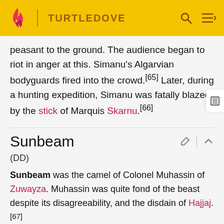TURTLEDOVE
peasant to the ground. The audience began to riot in anger at this. Simanu's Algarvian bodyguards fired into the crowd.[65] Later, during a hunting expedition, Simanu was fatally blazed by the stick of Marquis Skarnu.[66]
Sunbeam
(DD)
Sunbeam was the camel of Colonel Muhassin of Zuwayza. Muhassin was quite fond of the beast despite its disagreeability, and the disdain of Hajjaj.[67]
Szinyei of Gyongyos